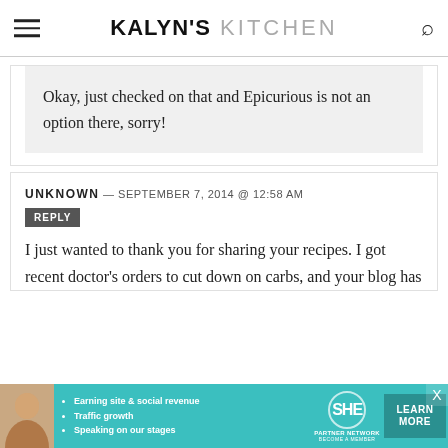KALYN'S KITCHEN
Okay, just checked on that and Epicurious is not an option there, sorry!
UNKNOWN — SEPTEMBER 7, 2014 @ 12:58 AM
REPLY
I just wanted to thank you for sharing your recipes. I got recent doctor's orders to cut down on carbs, and your blog has
[Figure (infographic): SHE Partner Network advertisement banner with photo of a woman, bullet points: Earning site & social revenue, Traffic growth, Speaking on our stages, and a Learn More button]